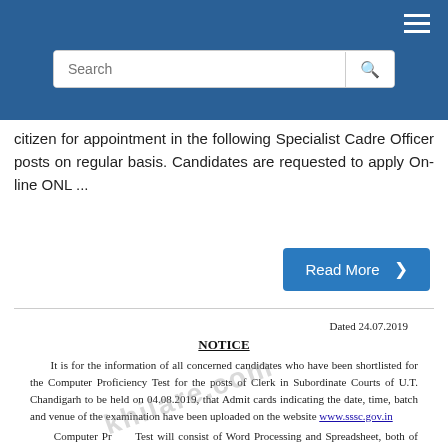Search [search bar with icon]
citizen for appointment in the following Specialist Cadre Officer posts on regular basis. Candidates are requested to apply On-line ONL ...
Read More ›
Dated 24.07.2019
NOTICE
It is for the information of all concerned candidates who have been shortlisted for the Computer Proficiency Test for the posts of Clerk in Subordinate Courts of U.T. Chandigarh to be held on 04.08.2019, that Admit cards indicating the date, time, batch and venue of the examination have been uploaded on the website www.sssc.gov.in
Computer Proficiency Test will consist of Word Processing and Spreadsheet, both of which will be of qualifying nature. In the Word Processing